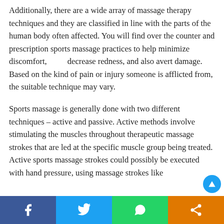Additionally, there are a wide array of massage therapy techniques and they are classified in line with the parts of the human body often affected. You will find over the counter and prescription sports massage practices to help minimize discomfort, decrease redness, and also avert damage. Based on the kind of pain or injury someone is afflicted from, the suitable technique may vary.
Sports massage is generally done with two different techniques – active and passive. Active methods involve stimulating the muscles throughout therapeutic massage strokes that are led at the specific muscle group being treated. Active sports massage strokes could possibly be executed with hand pressure, using massage strokes like
[Figure (other): Social sharing bar with Facebook, Twitter, WhatsApp, and share buttons at the bottom of the page]